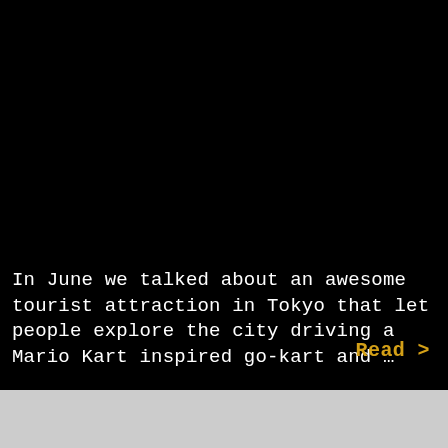In June we talked about an awesome tourist attraction in Tokyo that let people explore the city driving a Mario Kart inspired go-kart and …
Read >
Take a Mario Kart Tour of Japan